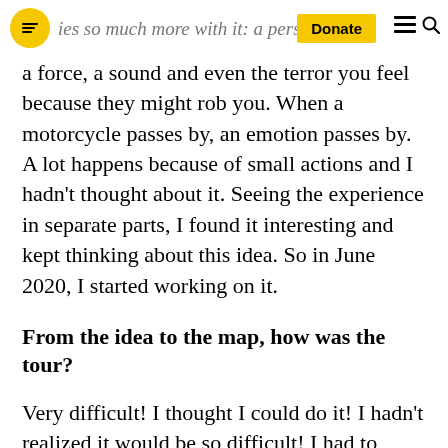ies so much more with it: a perso [Donate] [nav]
a force, a sound and even the terror you feel because they might rob you. When a motorcycle passes by, an emotion passes by. A lot happens because of small actions and I hadn't thought about it. Seeing the experience in separate parts, I found it interesting and kept thinking about this idea. So in June 2020, I started working on it.
From the idea to the map, how was the tour?
Very difficult! I thought I could do it! I hadn't realized it would be so difficult! I had to learn a lot about maps and programming. I work full time, so